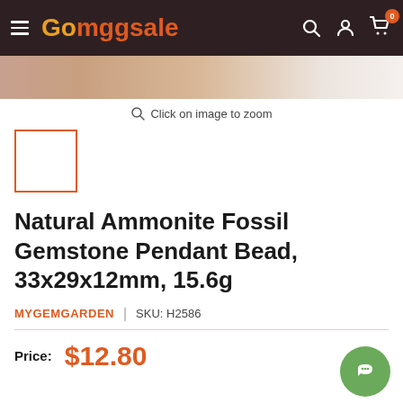Gomggsale
[Figure (photo): Top portion of a product photo showing a natural ammonite fossil gemstone pendant bead]
Click on image to zoom
[Figure (photo): Small thumbnail image of the product with orange border]
Natural Ammonite Fossil Gemstone Pendant Bead, 33x29x12mm, 15.6g
MYGEMGARDEN | SKU: H2586
Price: $12.80